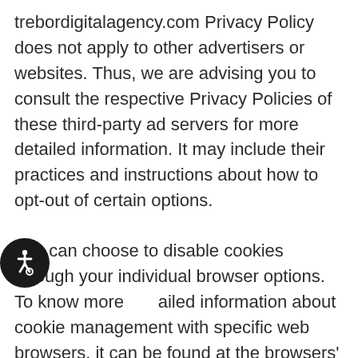trebordigitalagency.com Privacy Policy does not apply to other advertisers or websites. Thus, we are advising you to consult the respective Privacy Policies of these third-party ad servers for more detailed information. It may include their practices and instructions about how to opt-out of certain options.
You can choose to disable cookies through your individual browser options. To know more detailed information about cookie management with specific web browsers, it can be found at the browsers' respective websites.
[Figure (illustration): Accessibility icon — white wheelchair user symbol on dark circular background, positioned at bottom left]